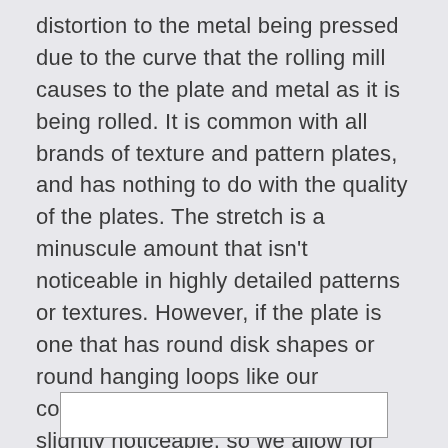distortion to the metal being pressed due to the curve that the rolling mill causes to the plate and metal as it is being rolled. It is common with all brands of texture and pattern plates, and has nothing to do with the quality of the plates. The stretch is a minuscule amount that isn't noticeable in highly detailed patterns or textures. However, if the plate is one that has round disk shapes or round hanging loops like our component die plates, it might be slightly noticeable, so we allow for the stretch when we draw our designs, and we add an arrow.
[Figure (other): White rectangle box at the bottom of the page]